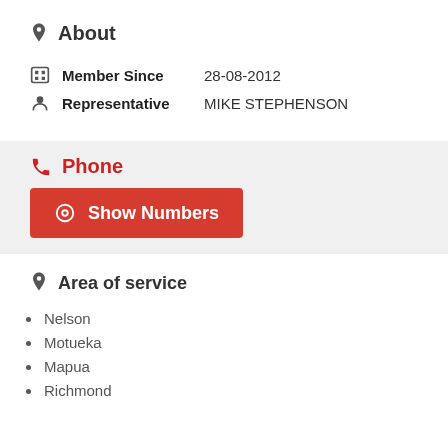About
Member Since   28-08-2012
Representative   MIKE STEPHENSON
Phone
Show Numbers
Area of service
Nelson
Motueka
Mapua
Richmond